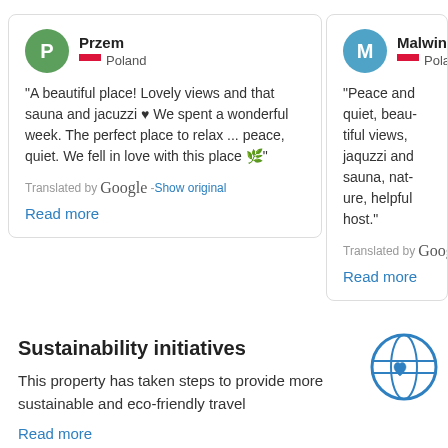Przem — Poland
"A beautiful place! Lovely views and that sauna and jacuzzi ❤ We spent a wonderful week. The perfect place to relax ... peace, quiet. We fell in love with this place 🌿"
Translated by Google - Show original
Read more
Malwina — Poland
"Peace and quiet, beau... jaquzzi and sauna, nat... helpful host."
Translated by Google - S...
Read more
Sustainability initiatives
This property has taken steps to provide more sustainable and eco-friendly travel
Read more